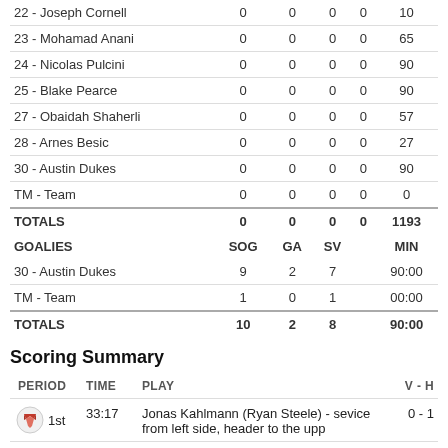| PLAYER | G | A | PTS | SH | MIN |
| --- | --- | --- | --- | --- | --- |
| 22 - Joseph Cornell | 0 | 0 | 0 | 0 | 10 |
| 23 - Mohamad Anani | 0 | 0 | 0 | 0 | 65 |
| 24 - Nicolas Pulcini | 0 | 0 | 0 | 0 | 90 |
| 25 - Blake Pearce | 0 | 0 | 0 | 0 | 90 |
| 27 - Obaidah Shaherli | 0 | 0 | 0 | 0 | 57 |
| 28 - Arnes Besic | 0 | 0 | 0 | 0 | 27 |
| 30 - Austin Dukes | 0 | 0 | 0 | 0 | 90 |
| TM - Team | 0 | 0 | 0 | 0 | 0 |
| TOTALS | 0 | 0 | 0 | 0 | 1193 |
| GOALIES | SOG | GA | SV |  | MIN |
| 30 - Austin Dukes | 9 | 2 | 7 |  | 90:00 |
| TM - Team | 1 | 0 | 1 |  | 00:00 |
| TOTALS | 10 | 2 | 8 |  | 90:00 |
Scoring Summary
| PERIOD | TIME | PLAY | V - H |
| --- | --- | --- | --- |
| 1st | 33:17 | Jonas Kahlmann (Ryan Steele) - sevice from left side, header to the upp | 0 - 1 |